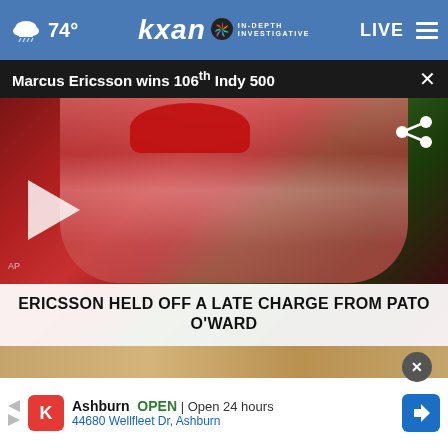74° kxan IN-DEPTH INVESTIGATIVE LIVE
Marcus Ericsson wins 106th Indy 500
[Figure (photo): Marcus Ericsson wearing a red Honda racing suit and red cap, celebrating his Indy 500 victory with a large floral wreath around his shoulders, pointing one finger up with a smile. A play button overlay and share icon appear on the image.]
ERICSSON HELD OFF A LATE CHARGE FROM PATO O'WARD
Ashburn  OPEN | Open 24 hours  44680 Wellfleet Dr, Ashburn